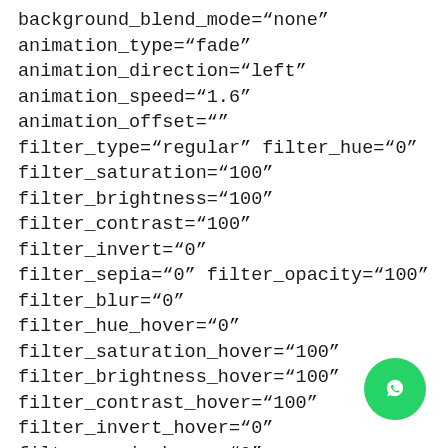background_blend_mode="none" animation_type="fade" animation_direction="left" animation_speed="1.6" animation_offset="" filter_type="regular" filter_hue="0" filter_saturation="100" filter_brightness="100" filter_contrast="100" filter_invert="0" filter_sepia="0" filter_opacity="100" filter_blur="0" filter_hue_hover="0" filter_saturation_hover="100" filter_brightness_hover="100" filter_contrast_hover="100" filter_invert_hover="0" filter_sepia_hover="0" filter_opacity_hover="100" filter_blur_hover="0" first="true" last="false" border_position="all" element_content="" spacing_right="4%" spacing_left="" margin_bottom_small="20px" box_shadow_vertical="32px" box_shadow_horizontal="16px"][fusion_imag...e image_id="1950|full" max_width="" sticky_max_width="" style_type="" blur=""
[Figure (other): WhatsApp contact button (green circle with WhatsApp phone/chat icon)]